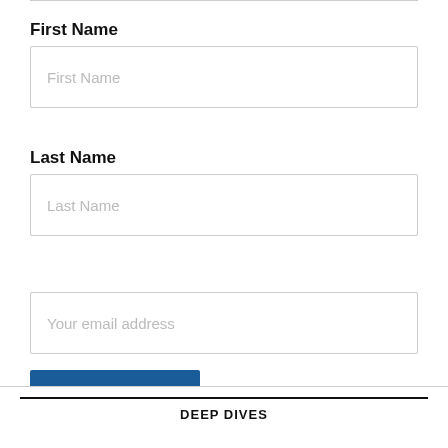First Name
[Figure (other): Text input field with placeholder 'First Name']
Last Name
[Figure (other): Text input field with placeholder 'Last Name']
[Figure (other): Text input field with placeholder 'Your email address']
[Figure (other): Blue subscribe button with text 'SUBSCRIBE']
DEEP DIVES